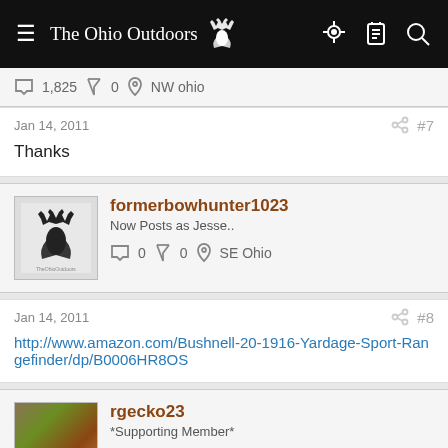The Ohio Outdoors
1,825  0  NW ohio
Jan 14, 2011  #7
Thanks
formerbowhunter1023
Now Posts as Jesse..
0  0  SE Ohio
Jan 14, 2011  #8
http://www.amazon.com/Bushnell-20-1916-Yardage-Sport-Rangefinder/dp/B0006HR8OS
rgecko23
*Supporting Member*
7,466  0  Massillon, Ohio